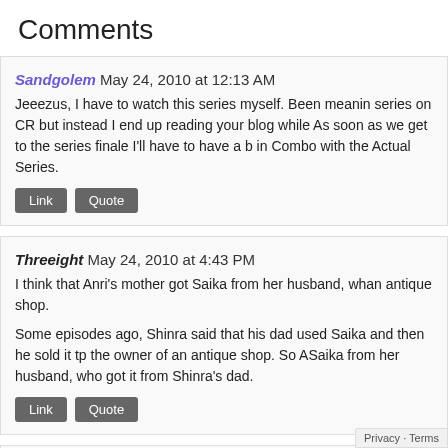Comments
Sandgolem May 24, 2010 at 12:13 AM
Jeeezus, I have to watch this series myself. Been meaning to watch this series on CR but instead I end up reading your blog while doing something. As soon as we get to the series finale I'll have to have a blog reading in Combo with the Actual Series.
Threeight May 24, 2010 at 4:43 PM
I think that Anri's mother got Saika from her husband, who got it from an antique shop.

Some episodes ago, Shinra said that his dad used Saika and then he sold it tp the owner of an antique shop. So Anri's mother got Saika from her husband, who got it from Shinra's dad.
You must be logged in to comment. Log in